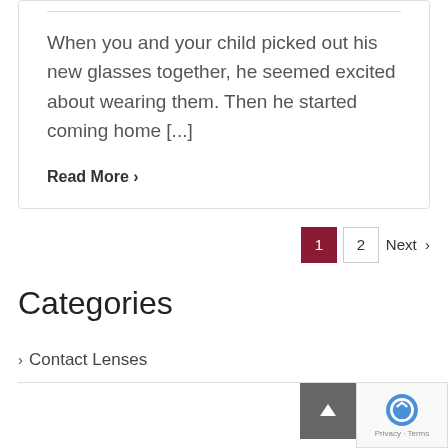When you and your child picked out his new glasses together, he seemed excited about wearing them. Then he started coming home [...]
Read More >
1   2   Next >
Categories
> Contact Lenses